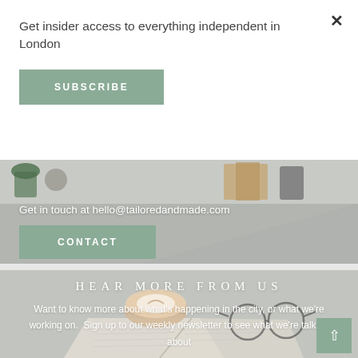Get insider access to everything independent in London
SUBSCRIBE
[Figure (photo): Desk scene with books, plants and neutral objects in a grey/beige palette]
Get in touch at hello@tailoredandmade.com
CONTACT
[Figure (photo): Flat lay of coffee cup, glasses and open book on a grey surface]
HEAR MORE FROM US
Want to know more about what's happening in the city, or what we're working on. Sign up to our weekly newsletter to see what we're talking about